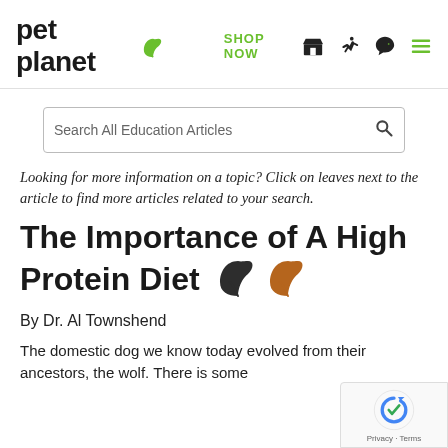pet planet | SHOP NOW
Search All Education Articles
Looking for more information on a topic? Click on leaves next to the article to find more articles related to your search.
The Importance of A High Protein Diet
By Dr. Al Townshend
The domestic dog we know today evolved from their ancestors, the wolf. There is some